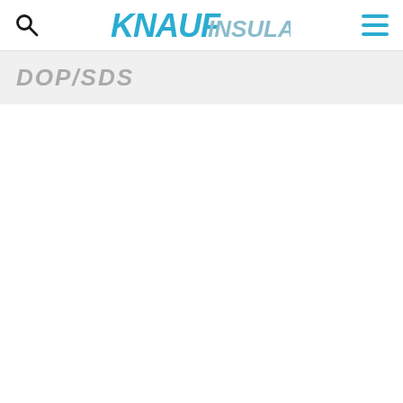Knauf Insulation — DOP/SDS page header with search icon, logo, and menu icon
DOP/SDS